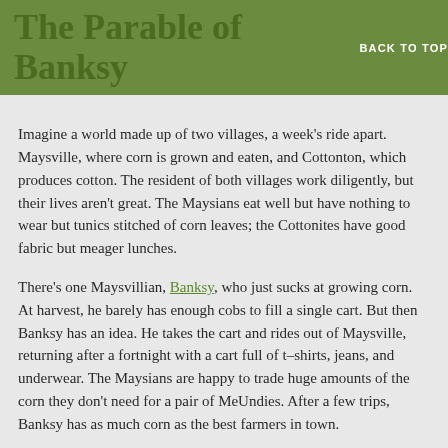The Parable of Banksy
BACK TO TOP
Imagine a world made up of two villages, a week's ride apart. Maysville, where corn is grown and eaten, and Cottonton, which produces cotton. The resident of both villages work diligently, but their lives aren't great. The Maysians eat well but have nothing to wear but tunics stitched of corn leaves; the Cottonites have good fabric but meager lunches.
There's one Maysvillian, Banksy, who just sucks at growing corn. At harvest, he barely has enough cobs to fill a single cart. But then Banksy has an idea. He takes the cart and rides out of Maysville, returning after a fortnight with a cart full of t–shirts, jeans, and underwear. The Maysians are happy to trade huge amounts of the corn they don't need for a pair of MeUndies. After a few trips, Banksy has as much corn as the best farmers in town.